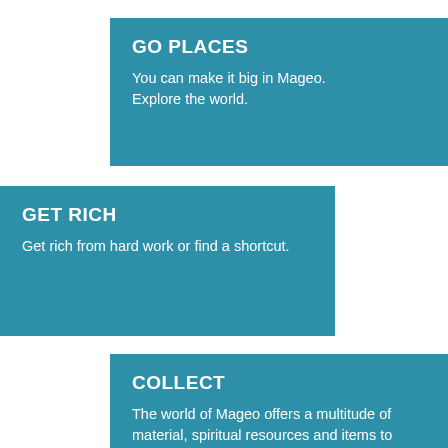GO PLACES
You can make it big in Mageo. Explore the world.
GET RICH
Get rich from hard work or find a shortcut.
COLLECT
The world of Mageo offers a multitude of material, spiritual resources and items to collect.